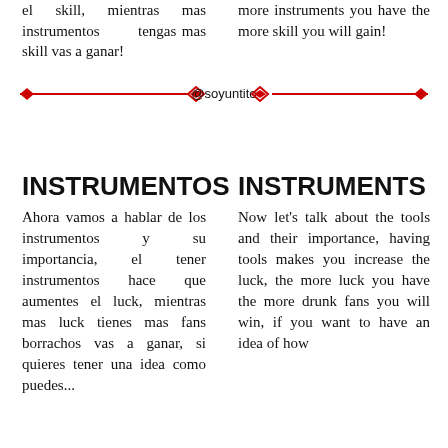el skill, mientras mas instrumentos tengas mas skill vas a ganar!
more instruments you have the more skill you will gain!
[Figure (illustration): Decorative red horizontal divider line with diamond end caps and stacked chevron/Steem logo icons in the center, with '@soyuntito' text in the middle]
INSTRUMENTOS
INSTRUMENTS
Ahora vamos a hablar de los instrumentos y su importancia, el tener instrumentos hace que aumentes el luck, mientras mas luck tienes mas fans borrachos vas a ganar, si quieres tener una idea como puedes...
Now let's talk about the tools and their importance, having tools makes you increase the luck, the more luck you have the more drunk fans you will win, if you want to have an idea of how